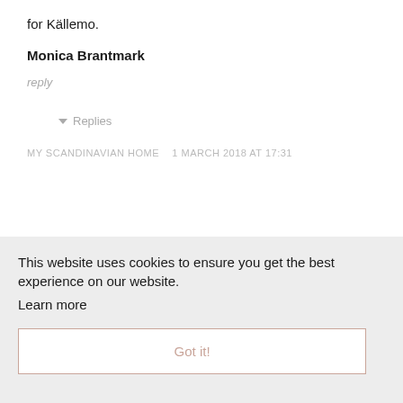for Källemo.
Monica Brantmark
reply
▾ Replies
MY SCANDINAVIAN HOME   1 March 2018 at 17:31
efore!
m up
This website uses cookies to ensure you get the best experience on our website.
Learn more
Got it!
SARAH   1 March 2018 at 22:25